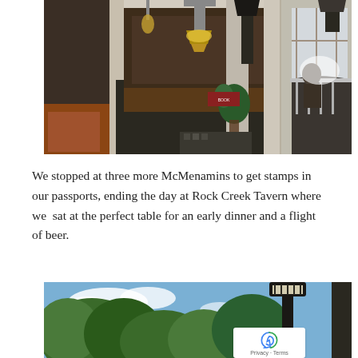[Figure (photo): Interior panoramic view of a McMenamins establishment showing a bar/restaurant with columns, hanging lights, a chandelier, decorative railings, plants, and checkered floor tile details.]
We stopped at three more McMenamins to get stamps in our passports, ending the day at Rock Creek Tavern where we sat at the perfect table for an early dinner and a flight of beer.
[Figure (photo): Outdoor photo showing trees with green foliage against a blue sky with clouds, and a tall ornate black lamp post on the right side. A reCAPTCHA privacy badge is visible in the lower right corner.]